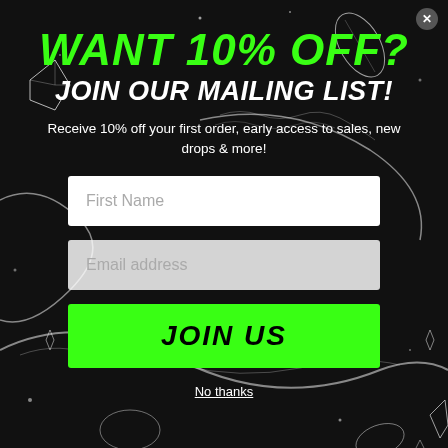[Figure (illustration): Dark background with decorative wireframe snake/mesh shapes and crystal/leaf decorative elements in white outline on black]
WANT 10% OFF?
JOIN OUR MAILING LIST!
Receive 10% off your first order, early access to sales, new drops & more!
First Name
Email address
JOIN US
No thanks